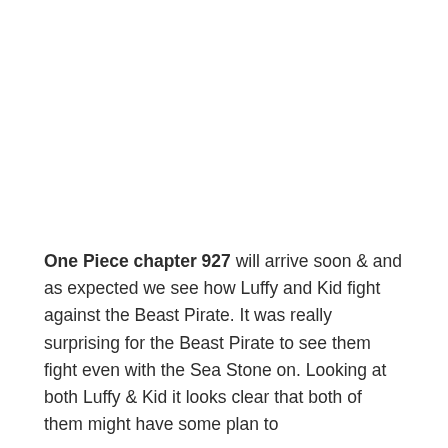One Piece chapter 927 will arrive soon & and as expected we see how Luffy and Kid fight against the Beast Pirate. It was really surprising for the Beast Pirate to see them fight even with the Sea Stone on. Looking at both Luffy & Kid it looks clear that both of them might have some plan to